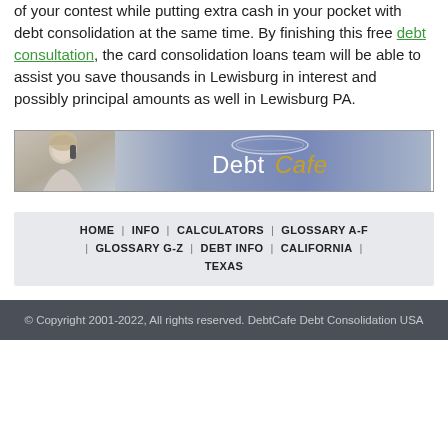of your contest while putting extra cash in your pocket with debt consolidation at the same time. By finishing this free debt consultation, the card consolidation loans team will be able to assist you save thousands in Lewisburg in interest and possibly principal amounts as well in Lewisburg PA.
[Figure (illustration): DebtCafe banner advertisement with a woman talking on phone on the left and the DebtCafe logo text on a blue/purple gradient background]
HOME | INFO | CALCULATORS | GLOSSARY A-F | GLOSSARY G-Z | DEBT INFO | CALIFORNIA | TEXAS
© Copyright 2001-2022, All rights reserved. DebtCafe Debt Consolidation USA